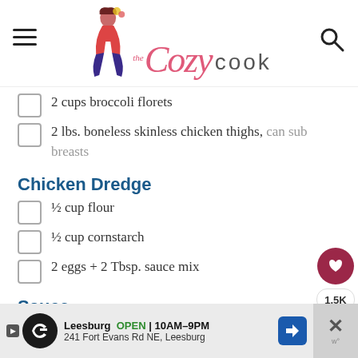the Cozy Cook
2 cups broccoli florets
2 lbs. boneless skinless chicken thighs, can sub breasts
Chicken Dredge
½ cup flour
½ cup cornstarch
2 eggs + 2 Tbsp. sauce mix
Sauce
1/4 cup cornstarch
2 Tablespoons cold water
1 cup chicken broth